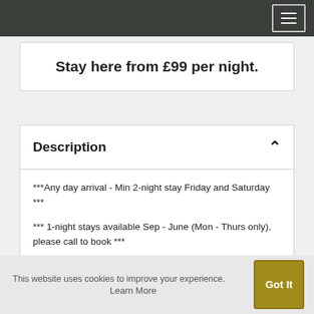Navigation bar with hamburger menu
Stay here from £99 per night.
Description
***Any day arrival - Min 2-night stay Friday and Saturday ***
*** 1-night stays available Sep - June (Mon - Thurs only), please call to book ***
This brand-new addition to a beautiful glamping site near Worcester is a cosy and luxurious space perfectly equipped for a gorgeous romantic break. The well-
This website uses cookies to improve your experience. Learn More   Got It